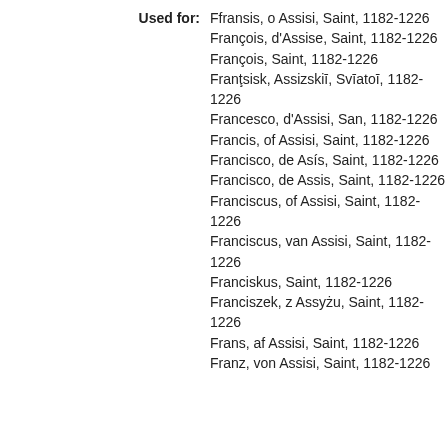Used for: Ffransis, o Assisi, Saint, 1182-1226
François, d'Assise, Saint, 1182-1226
François, Saint, 1182-1226
Frantsisk, Assizskiī, Svīatoī, 1182-1226
Francesco, d'Assisi, San, 1182-1226
Francis, of Assisi, Saint, 1182-1226
Francisco, de Asís, Saint, 1182-1226
Francisco, de Assis, Saint, 1182-1226
Franciscus, of Assisi, Saint, 1182-1226
Franciscus, van Assisi, Saint, 1182-1226
Franciskus, Saint, 1182-1226
Franciszek, z Assyżu, Saint, 1182-1226
Frans, af Assisi, Saint, 1182-1226
Franz, von Assisi, Saint, 1182-1226